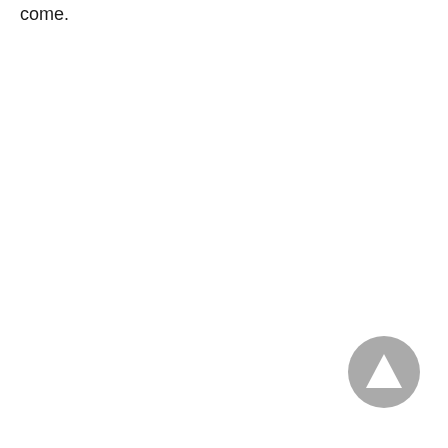come.
[Figure (other): A circular grey button with an upward-pointing triangle (play/up arrow) icon, positioned in the lower-right area of the page.]